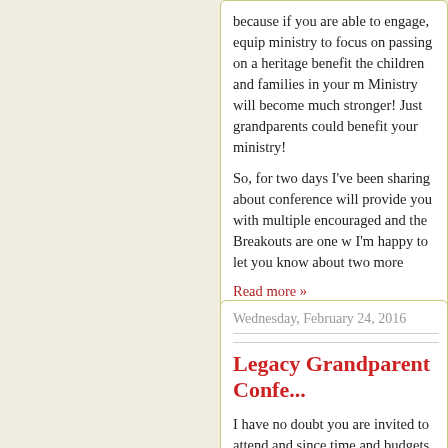because if you are able to engage, equip ministry to focus on passing on a heritage benefit the children and families in your m Ministry will become much stronger! Just grandparents could benefit your ministry!
So, for two days I've been sharing about conference will provide you with multiple encouraged and the Breakouts are one w I'm happy to let you know about two more
Read more »
Posted by Lynda Freeman at 9:26 AM
Wednesday, February 24, 2016
Legacy Grandparent Confe...
I have no doubt you are invited to attend and since time and budgets are not unlim applicable, most useful, and then choose